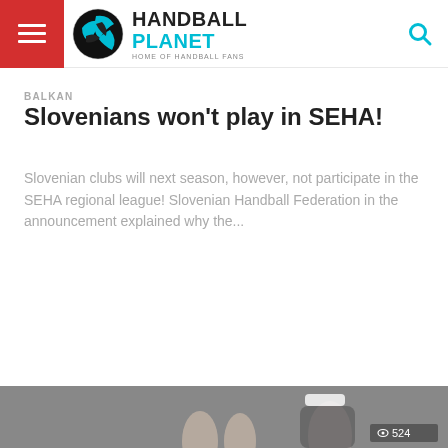Handball Planet - Home of Handball Fans
BALKAN
Slovenians won't play in SEHA!
Slovenian clubs will next season, however, not participate in the SEHA regional league! Slovenian Handball Federation in the announcement explained why the...
[Figure (photo): Sports action photo showing hands raised, partially visible at the bottom of the page, with a view count overlay showing 524]